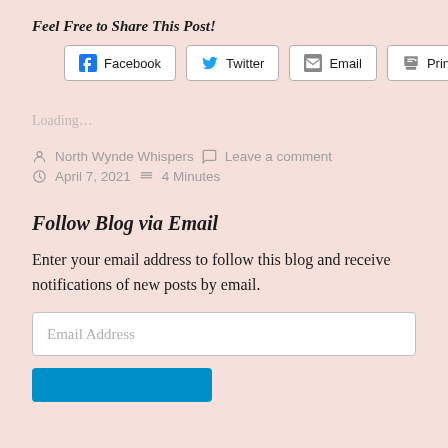Feel Free to Share This Post!
[Figure (infographic): Share buttons for Facebook, Twitter, Email, and Print]
Loading...
North Wynde Whispers   Leave a comment   April 7, 2021   4 Minutes
Follow Blog via Email
Enter your email address to follow this blog and receive notifications of new posts by email.
Email Address